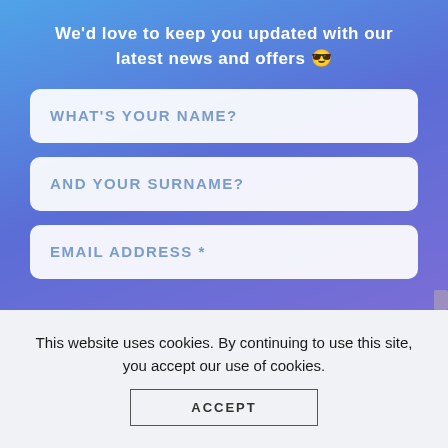We'd love to keep you updated with our latest news and offers 😎
WHAT'S YOUR NAME?
AND YOUR SURNAME?
EMAIL ADDRESS *
This website uses cookies. By continuing to use this site, you accept our use of cookies.
ACCEPT